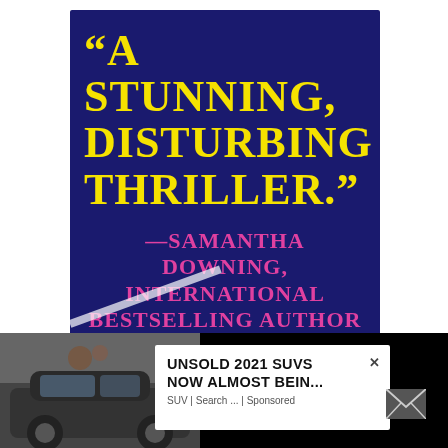[Figure (illustration): Screenshot of a social media or web page showing a book advertisement. The main content is a dark navy blue book cover featuring a large yellow quote '"A STUNNING, DISTURBING THRILLER."' and a pink attribution '—SAMANTHA DOWNING, INTERNATIONAL BESTSELLING AUTHOR'. A small book image is shown at the bottom of the cover. Overlaid at the bottom is a pop-up advertisement showing a car photo on the left and text 'UNSOLD 2021 SUVS NOW ALMOST BEIN... SUV | Search ... | Sponsored' with a close (×) button and an email envelope icon on the right.]
"A STUNNING, DISTURBING THRILLER."
—SAMANTHA DOWNING, INTERNATIONAL BESTSELLING AUTHOR
UNSOLD 2021 SUVS NOW ALMOST BEIN...
SUV | Search ... | Sponsored